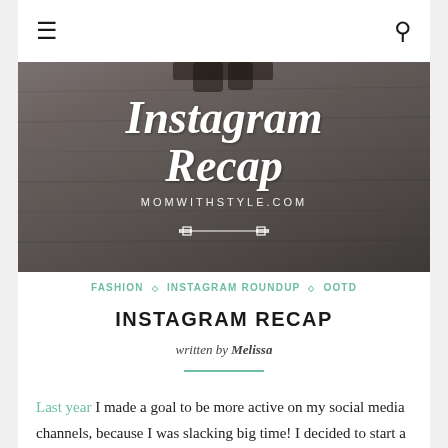≡  🔍
[Figure (photo): Hero banner image showing a wood floor background with text overlay reading 'Instagram Recap' in large italic bold white font, 'MOMWITHSTYLE.COM' in white spaced caps below, and a small decorative horizontal divider icon. A person's feet/shoes are partially visible at the top.]
FASHION ◇ INSTAGRAM ROUNDUP ◇ OOTD
INSTAGRAM RECAP
written by Melissa
Last year I made a goal to be more active on my social media channels, because I was slacking big time! I decided to start a  Instagram roundup as